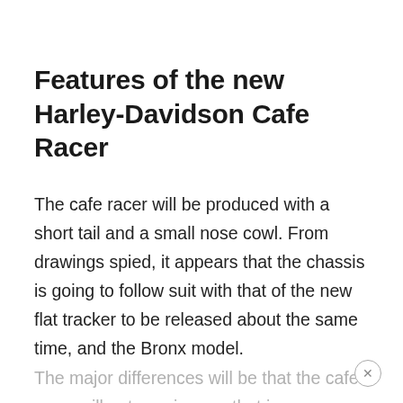Features of the new Harley-Davidson Cafe Racer
The cafe racer will be produced with a short tail and a small nose cowl. From drawings spied, it appears that the chassis is going to follow suit with that of the new flat tracker to be released about the same time, and the Bronx model. The major differences will be that the cafe racer will get a swingarm that is